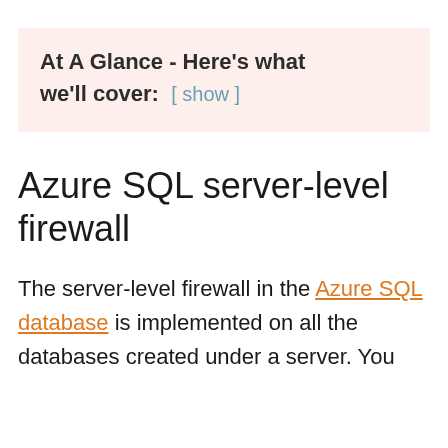At A Glance - Here's what we'll cover: [ show ]
Azure SQL server-level firewall
The server-level firewall in the Azure SQL database is implemented on all the databases created under a server. You